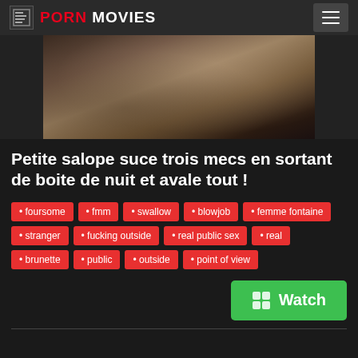PORN MOVIES
[Figure (photo): Thumbnail image of adult video content]
Petite salope suce trois mecs en sortant de boite de nuit et avale tout !
• foursome • fmm • swallow • blowjob • femme fontaine • stranger • fucking outside • real public sex • real • brunette • public • outside • point of view